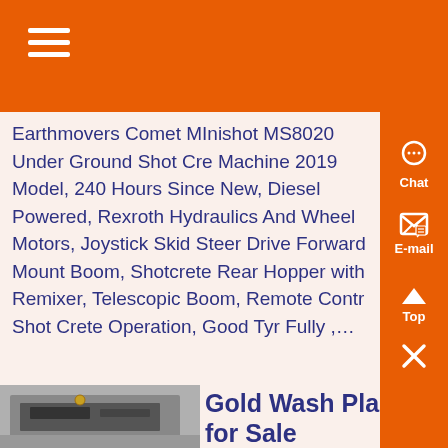Earthmovers Comet MInishot MS8020 Under Ground Shot Cre Machine 2019 Model, 240 Hours Since New, Diesel Powered, Rexroth Hydraulics And Wheel Motors, Joystick Skid Steer Drive Forward Mount Boom, Shotcrete Rear Hopper with Remixer, Telescopic Boom, Remote Contr Shot Crete Operation, Good Tyr Fully ,...
[Figure (photo): Photo of gold wash plant equipment, dark machinery with metal components]
Gold Wash Plant for Sale